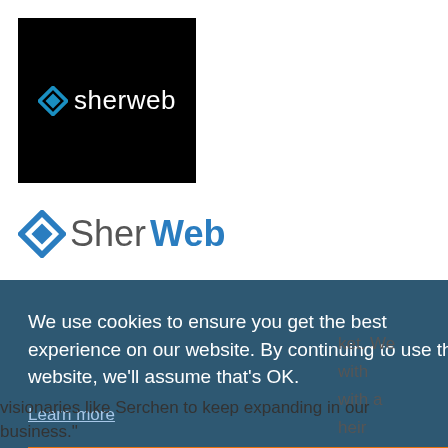[Figure (logo): Sherweb logo on black background — diamond icon in blue followed by white lowercase text 'sherweb']
[Figure (logo): SherWeb color logo — blue diamond icon with 'Sher' in gray and 'Web' in blue bold text]
We use cookies to ensure you get the best experience on our website. By continuing to use this website, we'll assume that's OK.
Learn more
visionaries like Serchen to keep expanding in our business."